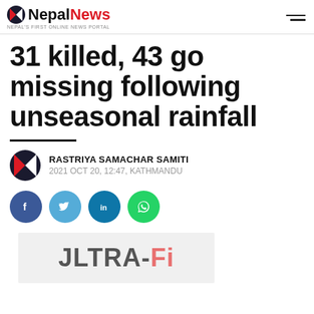NepалNews — NEPAL'S FIRST ONLINE NEWS PORTAL
31 killed, 43 go missing following unseasonal rainfall
RASTRIYA SAMACHAR SAMITI
2021 OCT 20, 12:47, KATHMANDU
[Figure (other): Social share buttons: Facebook, Twitter, LinkedIn, WhatsApp]
[Figure (other): Advertisement banner showing ULTRA-Fi logo text]